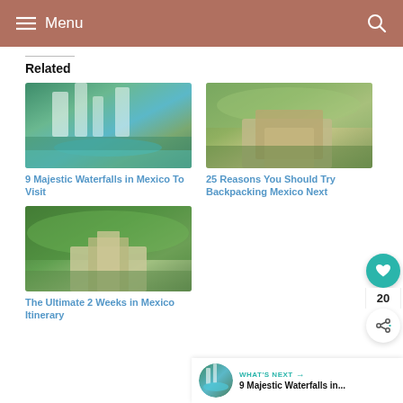Menu
Related
[Figure (photo): Aerial view of turquoise waterfalls and river in Mexico]
9 Majestic Waterfalls in Mexico To Visit
[Figure (photo): Ancient Mayan ruins surrounded by jungle]
25 Reasons You Should Try Backpacking Mexico Next
[Figure (photo): Palenque ruins with temple in forest]
The Ultimate 2 Weeks in Mexico Itinerary
WHAT'S NEXT → 9 Majestic Waterfalls in...